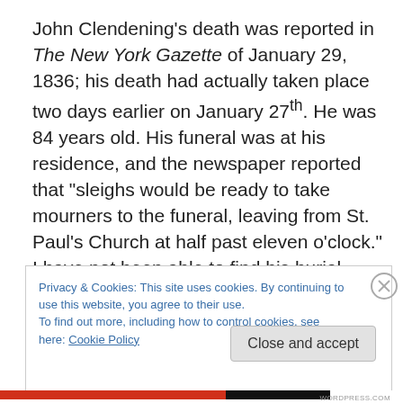John Clendening's death was reported in The New York Gazette of January 29, 1836; his death had actually taken place two days earlier on January 27th. He was 84 years old. His funeral was at his residence, and the newspaper reported that “sleighs would be ready to take mourners to the funeral, leaving from St. Paul’s Church at half past eleven o’clock.” I have not been able to find his burial place; I’d thought he might have been interred in the St.
Privacy & Cookies: This site uses cookies. By continuing to use this website, you agree to their use.
To find out more, including how to control cookies, see here: Cookie Policy
Close and accept